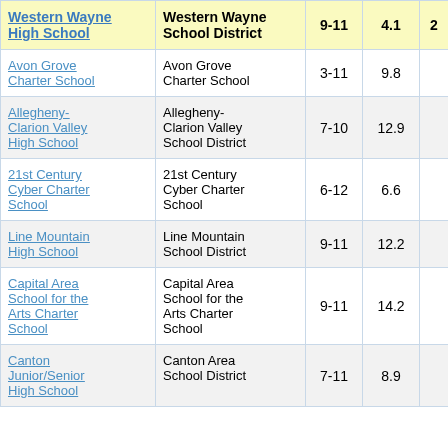| School | District | Grades | Col4 | Col5 |
| --- | --- | --- | --- | --- |
| Western Wayne High School | Western Wayne School District | 9-11 | 4.1 | 2 |
| Avon Grove Charter School | Avon Grove Charter School | 3-11 | 9.8 |  |
| Allegheny-Clarion Valley High School | Allegheny-Clarion Valley School District | 7-10 | 12.9 |  |
| 21st Century Cyber Charter School | 21st Century Cyber Charter School | 6-12 | 6.6 |  |
| Line Mountain High School | Line Mountain School District | 9-11 | 12.2 |  |
| Capital Area School for the Arts Charter School | Capital Area School for the Arts Charter School | 9-11 | 14.2 |  |
| Canton Junior/Senior High School | Canton Area School District | 7-11 | 8.9 |  |